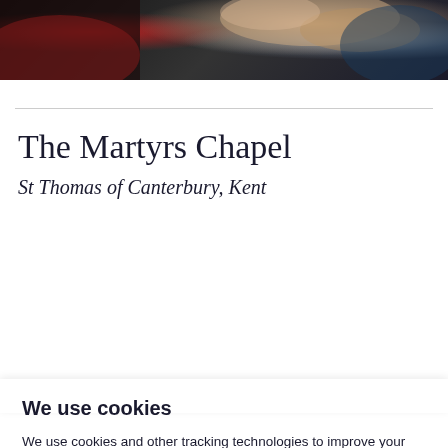[Figure (photo): Top portion of a photo showing hands, partially cropped, dark background with hints of red and blue clothing]
The Martyrs Chapel
St Thomas of Canterbury, Kent
We use cookies
We use cookies and other tracking technologies to improve your browsing experience on our website, to show you personalized content and targeted ads, to analyze our website traffic, and to understand where our visitors are coming from.